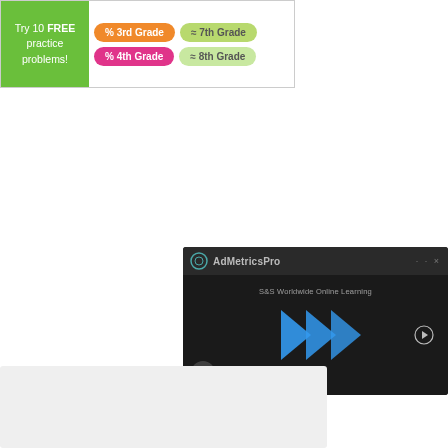[Figure (screenshot): Educational website banner with green 'Try 10 FREE practice problems!' box and grade-level buttons: 3rd Grade (orange), 7th Grade (light green), 4th Grade (pink), 8th Grade (light green)]
[Figure (screenshot): AdMetricsPro video advertisement overlay showing a dark video player with blue play arrows, S&S Worldwide Online Learning text, mute button, and close (X) button]